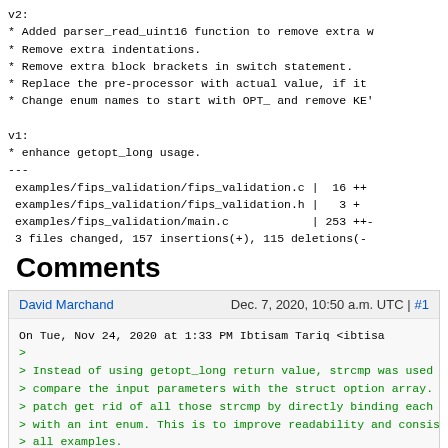v2:
* Added parser_read_uint16 function to remove extra w
* Remove extra indentations.
* Remove extra block brackets in switch statement.
* Replace the pre-processor with actual value, if it
* Change enum names to start with OPT_ and remove KEY

v1:
* enhance getopt_long usage.
---
 examples/fips_validation/fips_validation.c |  16 ++
 examples/fips_validation/fips_validation.h |   3 +
 examples/fips_validation/main.c            | 253 ++-
 3 files changed, 157 insertions(+), 115 deletions(-
Comments
David Marchand    Dec. 7, 2020, 10:50 a.m. UTC | #1
On Tue, Nov 24, 2020 at 1:33 PM Ibtisam Tariq <ibtisa
>
> Instead of using getopt_long return value, strcmp was used t
> compare the input parameters with the struct option array. 1
> patch get rid of all those strcmp by directly binding each l
> with an int enum. This is to improve readability and consist
> all examples.
>
> Bugzilla ID: 238
> Comments but not Signed-